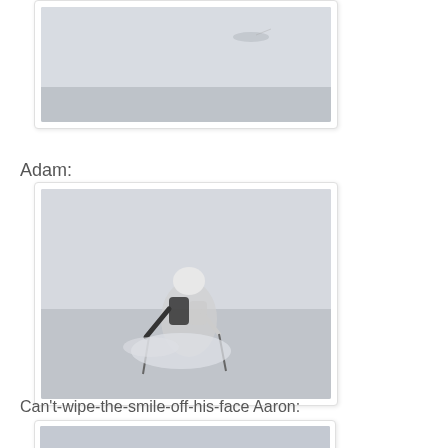[Figure (photo): Skier in deep powder snow, mostly white snowy scene, figure barely visible at top portion of image]
Adam:
[Figure (photo): Skier in deep powder snow, person wearing white helmet and dark jacket, surrounded by snow spray, poles visible]
Can't-wipe-the-smile-off-his-face Aaron:
[Figure (photo): Partial view of skier in snowy conditions, light grey/blue sky background]